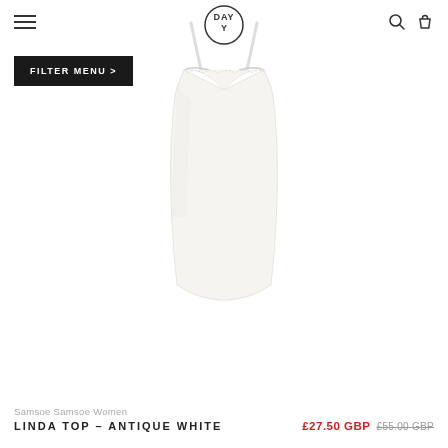DAY [logo] — hamburger menu, search, bag icons
FILTER MENU >
[Figure (photo): A white/cream spaghetti strap camisole top with lace trim at the neckline, displayed on a plain white background. The top has a V-neckline with delicate lace detail and thin adjustable straps.]
Samsoe Samsoe Women
LINDA TOP – ANTIQUE WHITE
£27.50 GBP £55.00 GBP